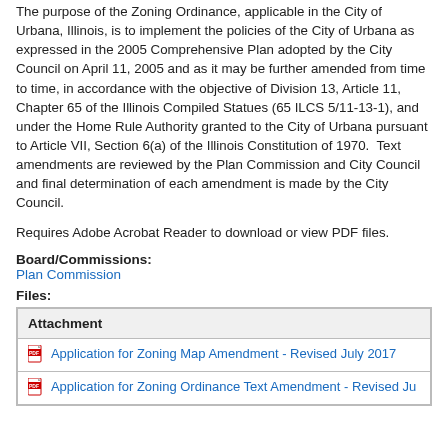The purpose of the Zoning Ordinance, applicable in the City of Urbana, Illinois, is to implement the policies of the City of Urbana as expressed in the 2005 Comprehensive Plan adopted by the City Council on April 11, 2005 and as it may be further amended from time to time, in accordance with the objective of Division 13, Article 11, Chapter 65 of the Illinois Compiled Statues (65 ILCS 5/11-13-1), and under the Home Rule Authority granted to the City of Urbana pursuant to Article VII, Section 6(a) of the Illinois Constitution of 1970. Text amendments are reviewed by the Plan Commission and City Council and final determination of each amendment is made by the City Council.
Requires Adobe Acrobat Reader to download or view PDF files.
Board/Commissions:
Plan Commission
Files:
| Attachment |
| --- |
| Application for Zoning Map Amendment - Revised July 2017 |
| Application for Zoning Ordinance Text Amendment - Revised Ju |